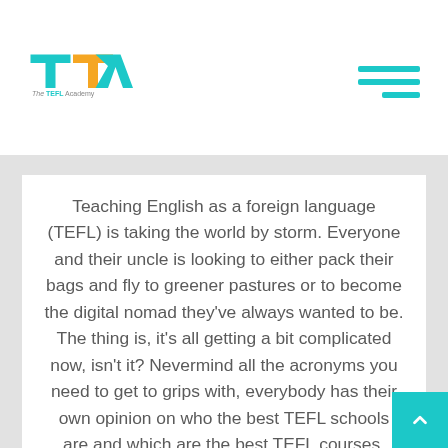[Figure (logo): The TEFL Academy logo — TTA letters in teal and orange, with tagline 'The TEFL Academy']
Teaching English as a foreign language (TEFL) is taking the world by storm. Everyone and their uncle is looking to either pack their bags and fly to greener pastures or to become the digital nomad they've always wanted to be. The thing is, it's all getting a bit complicated now, isn't it? Nevermind all the acronyms you need to get to grips with, everybody has their own opinion on who the best TEFL schools are and which are the best TEFL courses.